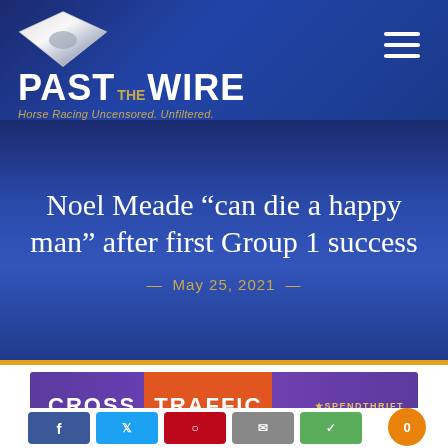Past The Wire — Horse Racing Uncensored. Unfiltered.
Noel Meade “can die a happy man” after first Group 1 success
May 25, 2021
[Figure (screenshot): Cross Traffic Spendthrift Farm advertisement banner with purple background, orange accent for TRAFFIC text]
[Figure (other): Social share buttons row: Facebook, Twitter, Pinterest, Email, Share; notification badge showing 0]